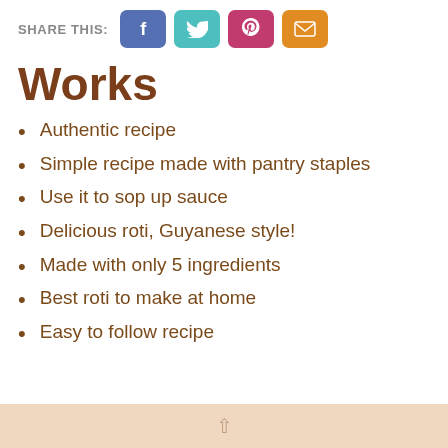SHARE THIS: [Facebook] [Twitter] [Pinterest] [Email]
Works
Authentic recipe
Simple recipe made with pantry staples
Use it to sop up sauce
Delicious roti, Guyanese style!
Made with only 5 ingredients
Best roti to make at home
Easy to follow recipe
↑